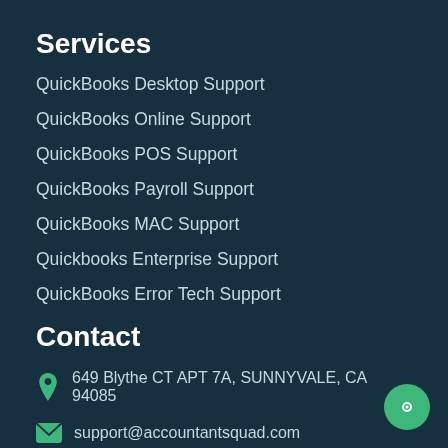Services
QuickBooks Desktop Support
QuickBooks Online Support
QuickBooks POS Support
QuickBooks Payroll Support
QuickBooks MAC Support
Quickbooks Enterprise Support
QuickBooks Error Tech Support
Contact
649 Blythe CT APT 7A, SUNNYVALE, CA 94085
support@accountantsquad.com